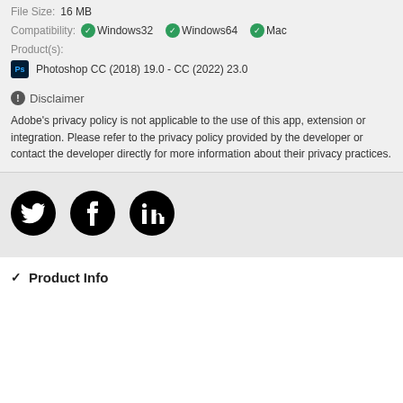File Size: 16 MB
Compatibility: ✓ Windows32  ✓ Windows64  ✓ Mac
Product(s):
Photoshop CC (2018) 19.0 - CC (2022) 23.0
Disclaimer
Adobe's privacy policy is not applicable to the use of this app, extension or integration. Please refer to the privacy policy provided by the developer or contact the developer directly for more information about their privacy practices.
[Figure (illustration): Social media icons: Twitter, Facebook, LinkedIn in black circles]
Product Info